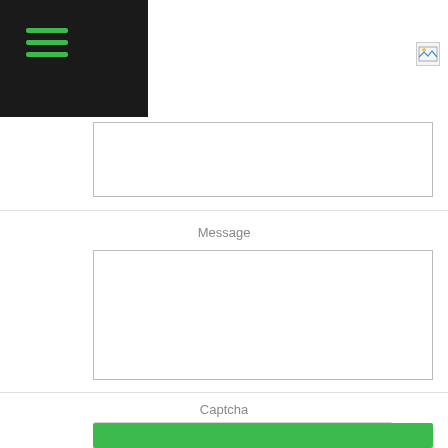hamburger menu icon
Message
Captcha
[Figure (other): reCAPTCHA widget with checkbox labeled I'm not a robot, reCAPTCHA logo, Privacy and Terms links]
NEXT